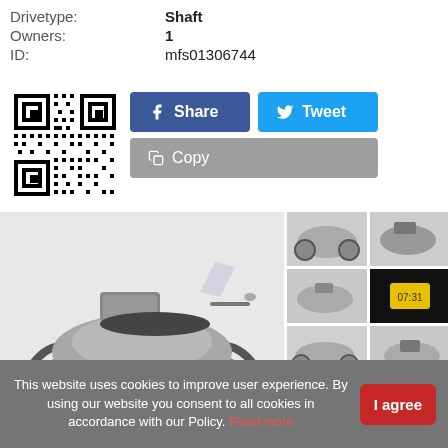Drivetype: Shaft
Owners: 1
ID: mfs01306744
[Figure (other): QR code for the listing page]
[Figure (photo): Main photo of silver Honda motorcycle with top box, parked against white wall]
[Figure (photo): Thumbnail 1: front-right view of silver motorcycle]
[Figure (photo): Thumbnail 2: rear-right view of motorcycle]
[Figure (photo): Thumbnail 3: left rear view of motorcycle with top box]
[Figure (photo): Thumbnail 4: odometer/instrument cluster close-up]
[Figure (photo): Thumbnail 5: left side view of motorcycle]
[Figure (photo): Thumbnail 6: right side close-up view]
[Figure (photo): Thumbnail 7: full left side view of motorcycle]
[Figure (photo): Thumbnail 8: outdoor photo of motorcycle at dealership]
This website uses cookies to improve user experience. By using our website you consent to all cookies in accordance with our Policy. Read more